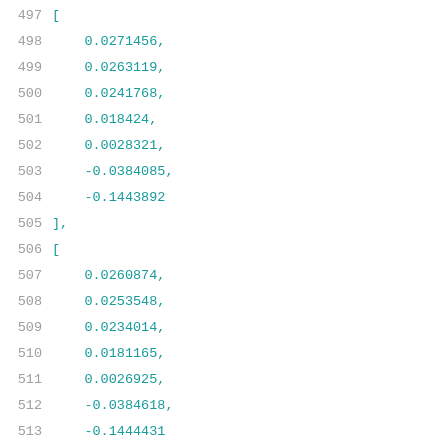Code listing lines 497-518 showing numerical array data with line numbers 497 through 518, containing floating point values in nested arrays.